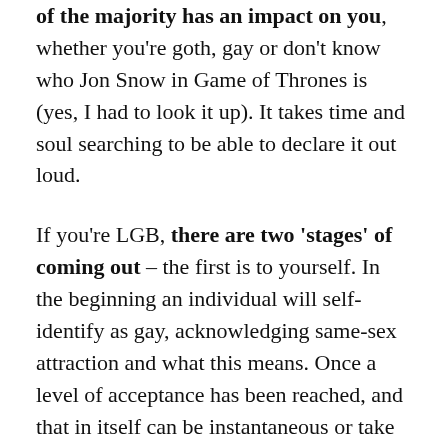identifying as something that's not the way of the majority has an impact on you, whether you're goth, gay or don't know who Jon Snow in Game of Thrones is (yes, I had to look it up). It takes time and soul searching to be able to declare it out loud.
If you're LGB, there are two 'stages' of coming out – the first is to yourself. In the beginning an individual will self-identify as gay, acknowledging same-sex attraction and what this means. Once a level of acceptance has been reached, and that in itself can be instantaneous or take years, they'll need to make the decision to tell others. Like we've already discussed, your characters backstory will influence the trajectory of this